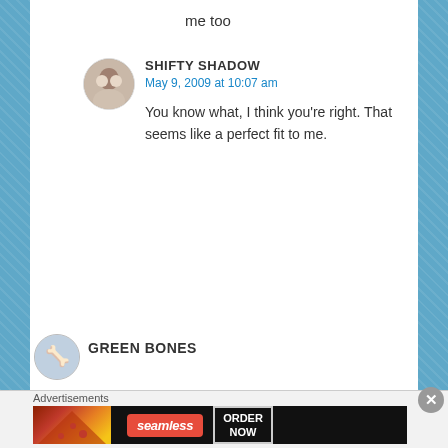me too
SHIFTY SHADOW
May 9, 2009 at 10:07 am

You know what, I think you're right. That seems like a perfect fit to me.
GREEN BONES
Advertisements
[Figure (screenshot): Seamless food delivery advertisement banner with pizza image, 'seamless' logo in red, and 'ORDER NOW' button]